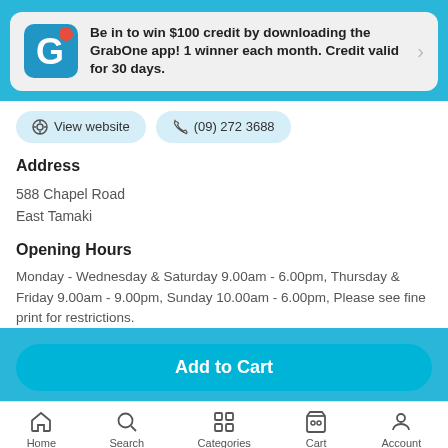Be in to win $100 credit by downloading the GrabOne app! 1 winner each month. Credit valid for 30 days.
View website
(09) 272 3688
Address
588 Chapel Road
East Tamaki
Opening Hours
Monday - Wednesday & Saturday 9.00am - 6.00pm, Thursday & Friday 9.00am - 9.00pm, Sunday 10.00am - 6.00pm, Please see fine print for restrictions.
Add to Cart
Home
Search
Categories
Cart
Account